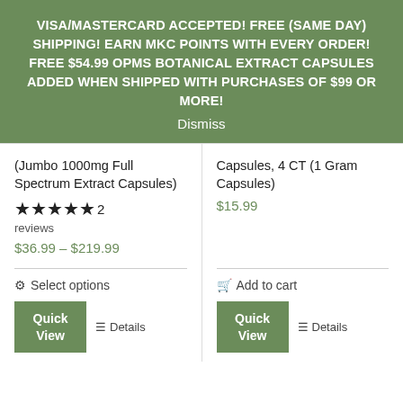VISA/MASTERCARD ACCEPTED! FREE (SAME DAY) SHIPPING! EARN MKC POINTS WITH EVERY ORDER! FREE $54.99 OPMS BOTANICAL EXTRACT CAPSULES ADDED WHEN SHIPPED WITH PURCHASES OF $99 OR MORE! Dismiss
(Jumbo 1000mg Full Spectrum Extract Capsules)
★★★★★ 2 reviews
$36.99 – $219.99
Select options
Quick View
Details
Capsules, 4 CT (1 Gram Capsules)
$15.99
Add to cart
Quick View
Details